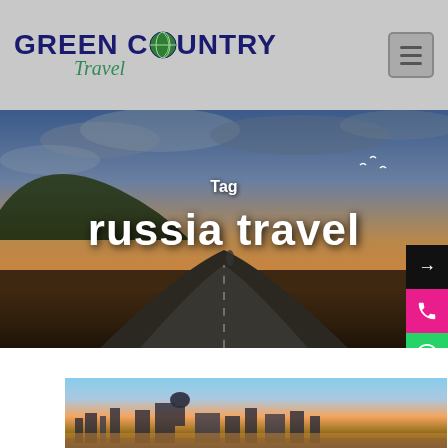[Figure (logo): Green Country Travel logo with globe icon replacing the O in COUNTRY, with cursive 'Travel' subtitle in green]
[Figure (photo): Hero banner showing a winding road through hilly landscape at sunset/dusk with dramatic cloudy sky]
Tag
russia travel
[Figure (photo): Aerial photo of a Russian city at sunset with river and cathedral visible]